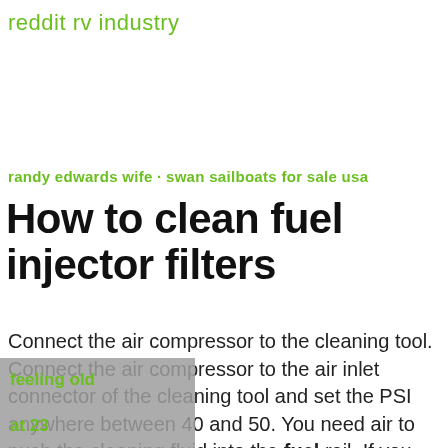reddit rv industry
randy edwards wife · swan sailboats for sale usa
How to clean fuel injector filters
Connect the air compressor to the cleaning tool. Connect the air compressor to the air inlet connector of the cleaning tool and set the PSI anywhere between 40 and 50. You need air to push the cleaning fluid into the fuel rail. If you
feeling old

at 23